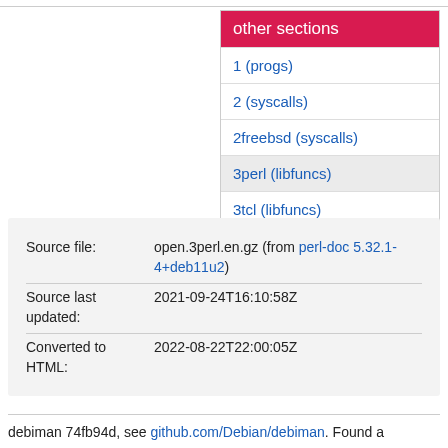other sections
1 (progs)
2 (syscalls)
2freebsd (syscalls)
3perl (libfuncs)
3tcl (libfuncs)
| Source file: | open.3perl.en.gz (from perl-doc 5.32.1-4+deb11u2) |
| Source last updated: | 2021-09-24T16:10:58Z |
| Converted to HTML: | 2022-08-22T22:00:05Z |
debiman 74fb94d, see github.com/Debian/debiman. Found a